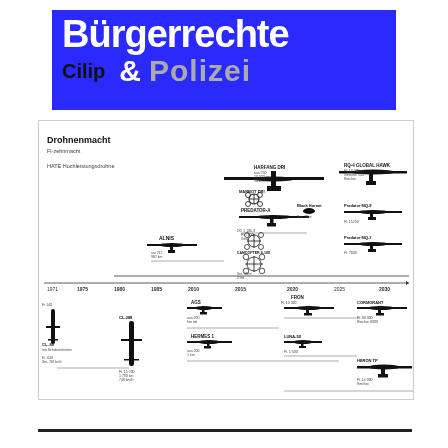[Figure (logo): Blue banner logo reading 'Bürgerrechte' on top line in white bold text, then 'Cilip' in black bold and '& Polizei' in grey bold on blue background]
[Figure (infographic): Drohnenmacht (Drone Power) infographic showing silhouettes of various military and surveillance drones with timeline from 1970s to 2020s, including aircraft like CL-289, CL-289 variants, ALNIS, Black Hornet, Predator, RQ-4 Global Hawk, and others arranged on a horizontal timeline with size comparisons]